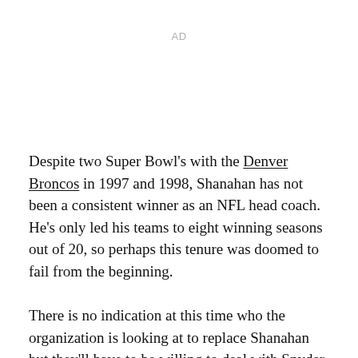AD
Despite two Super Bowl's with the Denver Broncos in 1997 and 1998, Shanahan has not been a consistent winner as an NFL head coach. He's only led his teams to eight winning seasons out of 20, so perhaps this tenure was doomed to fail from the beginning.
There is no indication at this time who the organization is looking at to replace Shanahan but they'll have to be willing to deal with Snyder and get results. It probably